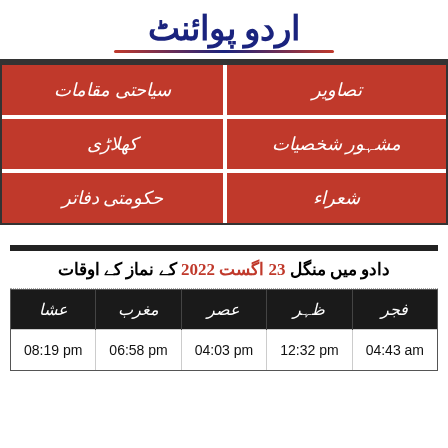اردو پوائنٹ
| تصاویر | سیاحتی مقامات |
| --- | --- |
| مشہور شخصیات | کھلاڑی |
| شعراء | حکومتی دفاتر |
دادو میں منگل 23 اگست 2022 کے نماز کے اوقات
| فجر | ظہر | عصر | مغرب | عشا |
| --- | --- | --- | --- | --- |
| 04:43 am | 12:32 pm | 04:03 pm | 06:58 pm | 08:19 pm |